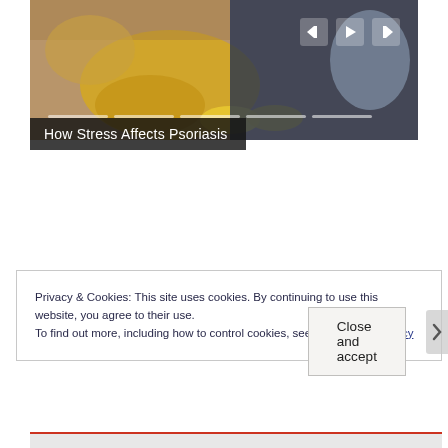[Figure (screenshot): Video player showing a person in yellow knit sweater with yellow slippers sitting on a couch, with playback controls (skip back, play, skip forward) and a segmented progress bar at the bottom]
How Stress Affects Psoriasis
Privacy & Cookies: This site uses cookies. By continuing to use this website, you agree to their use.
To find out more, including how to control cookies, see here: Cookie Policy
Close and accept